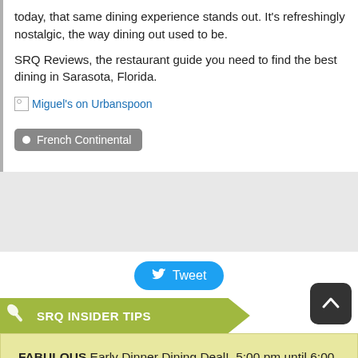today, that same dining experience stands out. It’s refreshingly nostalgic, the way dining out used to be.
SRQ Reviews, the restaurant guide you need to find the best dining in Sarasota, Florida.
[Figure (other): Broken image placeholder with alt text: Miguel’s on Urbanspoon]
French Continental
[Figure (other): Gray advertisement/widget area]
[Figure (other): Tweet button (Twitter/X share button)]
SRQ INSIDER TIPS
FABULOUS Early Dinner Dining Deal!  5:00 pm until 6:00 pm or 6:30 pm (depending on the time of year.)
SRQ RESTAURANT DETAILS